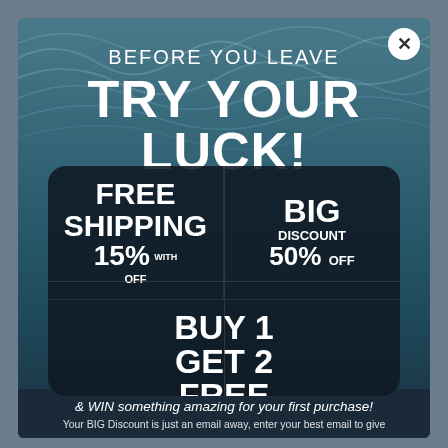BEFORE YOU LEAVE
TRY YOUR LUCK!
[Figure (infographic): Dark rounded card with three offer cells: FREE SHIPPING 15% WITH OFF, BIG DISCOUNT 50% OFF, BUY 1 GET 2 FREE]
& WIN something amazing for your first purchase!
Your BIG Discount is just an email away, enter your best email to give